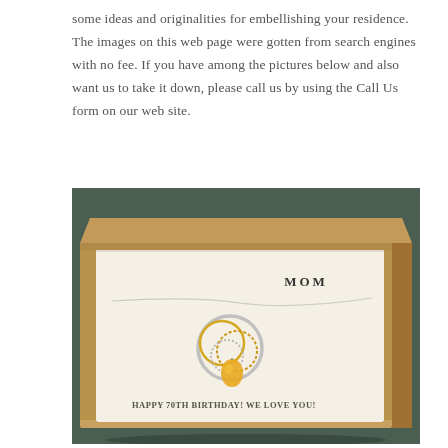some ideas and originalities for embellishing your residence. The images on this web page were gotten from search engines with no fee. If you have among the pictures below and also want us to take it down, please call us by using the Call Us form on our web site.
[Figure (photo): A jewelry gift box with kraft cardboard exterior containing a white card insert labeled 'MOM' at the top. A necklace with interlocking rings pendant and a yellow citrine gemstone drop is displayed on the card. Text at the bottom of the card reads 'HAPPY 70TH BIRTHDAY! WE LOVE YOU!' The box sits on a dark green/teal surface.]